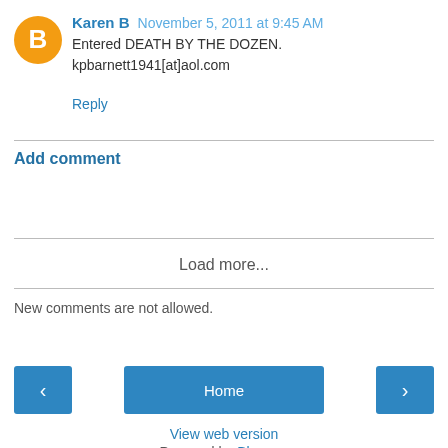Karen B  November 5, 2011 at 9:45 AM
Entered DEATH BY THE DOZEN.
kpbarnett1941[at]aol.com
Reply
Add comment
Load more...
New comments are not allowed.
< Home >
View web version
Powered by Blogger.